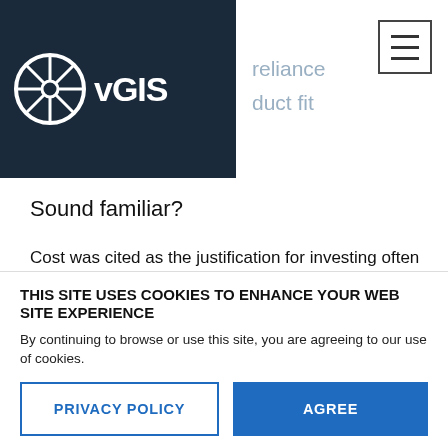vGIS | reliance | product fit
Sound familiar?
Cost was cited as the justification for investing often shocking amounts into internal development or hiring third parties for contract coding. Two companies that invested eye-watering sums justified their investments with simple math – if for every employee in the
THIS SITE USES COOKIES TO ENHANCE YOUR WEB SITE EXPERIENCE
By continuing to browse or use this site, you are agreeing to our use of cookies.
PRIVACY POLICY
AGREE